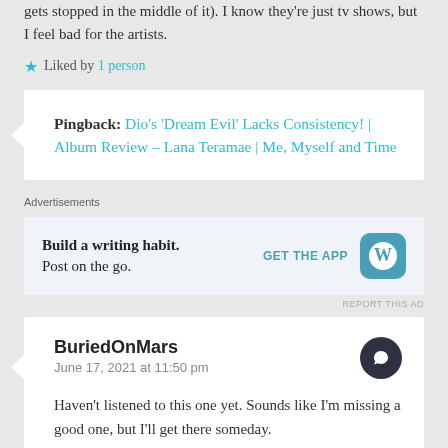gets stopped in the middle of it). I know they're just tv shows, but I feel bad for the artists.
★ Liked by 1 person
Pingback: Dio's 'Dream Evil' Lacks Consistency! | Album Review – Lana Teramae | Me, Myself and Time
Advertisements
[Figure (screenshot): WordPress app advertisement: 'Build a writing habit. Post on the go.' with GET THE APP button and WordPress logo icon]
REPORT THIS AD
BuriedOnMars
June 17, 2021 at 11:50 pm
Haven't listened to this one yet. Sounds like I'm missing a good one, but I'll get there someday.
★ Liked by 2 people